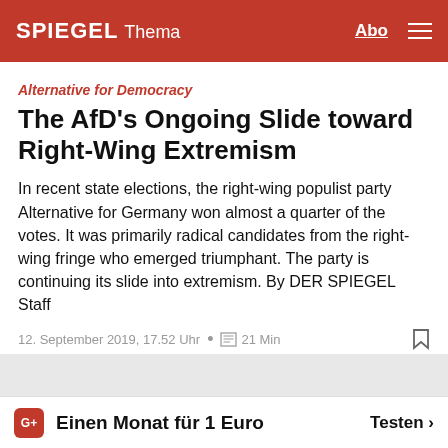SPIEGEL Thema
Alternative for Democracy
The AfD's Ongoing Slide toward Right-Wing Extremism
In recent state elections, the right-wing populist party Alternative for Germany won almost a quarter of the votes. It was primarily radical candidates from the right-wing fringe who emerged triumphant. The party is continuing its slide into extremism. By DER SPIEGEL Staff
12. September 2019, 17.52 Uhr • 21 Min
Einen Monat für 1 Euro   Testen >